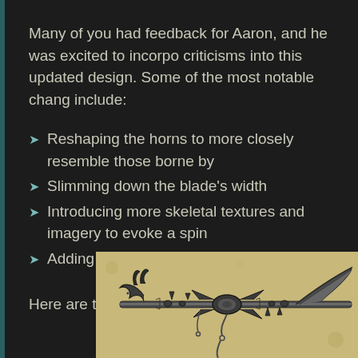Many of you had feedback for Aaron, and he was excited to incorporate criticisms into this updated design. Some of the most notable changes include:
Reshaping the horns to more closely resemble those borne by
Slimming down the blade's width
Introducing more skeletal textures and imagery to evoke a spin
Adding chains
Here are the results!
[Figure (illustration): Illustrated drawing of a fantasy weapon (scythe/axe) with dragon/demonic decorative elements including horns, chains, and skeletal imagery, rendered on aged parchment-colored background]